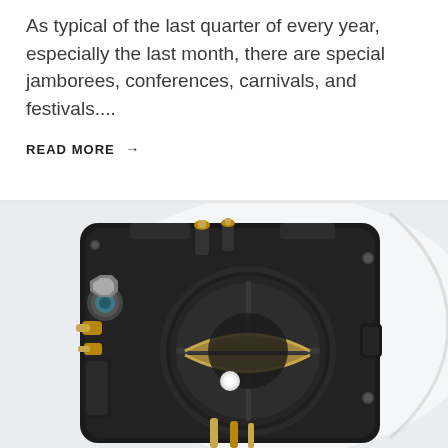As typical of the last quarter of every year, especially the last month, there are special jamborees, conferences, carnivals, and festivals....
READ MORE →
[Figure (photo): Close-up photo of a black carburetor or throttle body with brass fittings and gold-colored internal components, on a white/light gray background.]